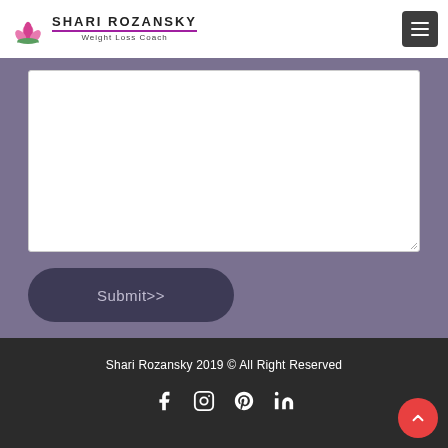Shari Rozansky Weight Loss Coach
[Figure (screenshot): Large textarea input field with white background, partially visible, on a muted purple/slate background section of a contact form]
[Figure (screenshot): Submit button with dark rounded pill shape and text 'Submit>>']
Shari Rozansky 2019 © All Right Reserved
[Figure (illustration): Social media icons row: Facebook, Instagram, Pinterest, LinkedIn in white on dark footer background]